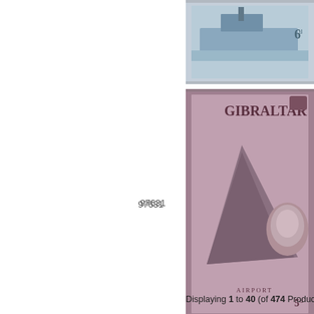[Figure (photo): Top portion of a Gibraltar postage stamp showing a ship and '6d' denomination, blue coloring, perforated edges]
[Figure (photo): Gibraltar postage stamp showing the Rock of Gibraltar and Queen Elizabeth II portrait, with 'AIRPORT' label, mauve/purple coloring, perforated edges, '5d' denomination]
97631
Displaying 1 to 40 (of 474 Products)
[Figure (other): Green gradient navigation/header bar]
[Figure (other): White content box area]
Copyright ©
[Figure (other): Green gradient footer bar]